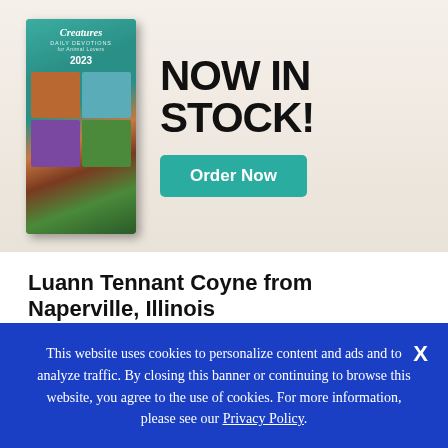[Figure (illustration): Book advertisement banner showing a 'Creatures Daily Devotions for Animal Lovers 2023' book on left with teal/wildlife cover collage, and 'NOW IN STOCK!' text with an 'Order Now' teal button on a wooden/light background on the right.]
Luann Tennant Coyne from Naperville, Illinois
I sat on my deck, looking at the memorial garden I had planted for my baby granddaughter, Eliana. She'd recently died from a genetic condition at just
This website uses cookies to personalize content and ads and to analyze traffic. By closing this banner or continuing to browse this website, you agree to the use of cookies. For more information, please see our Privacy Policy.